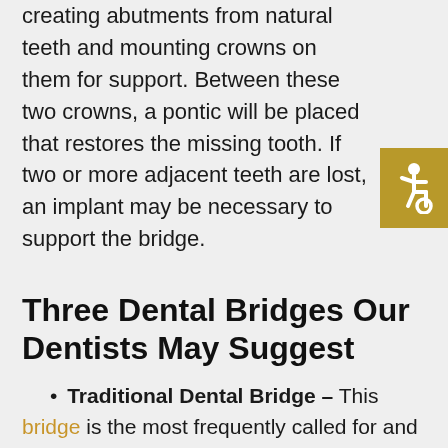creating abutments from natural teeth and mounting crowns on them for support. Between these two crowns, a pontic will be placed that restores the missing tooth. If two or more adjacent teeth are lost, an implant may be necessary to support the bridge.
[Figure (illustration): Accessibility icon (wheelchair symbol) in a gold/dark-yellow square button at the right side of the page]
Three Dental Bridges Our Dentists May Suggest
Traditional Dental Bridge – This bridge is the most frequently called for and matches the description given above. The use of the